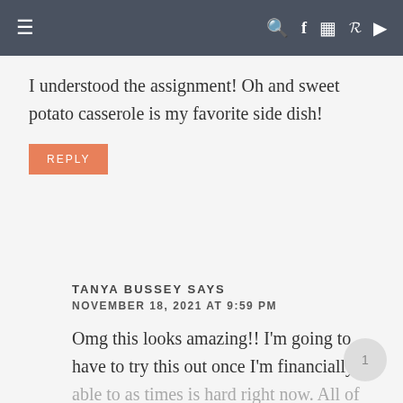≡   🔍 f 📷 𝗽 ▶
I understood the assignment! Oh and sweet potato casserole is my favorite side dish!
REPLY
TANYA BUSSEY SAYS
NOVEMBER 18, 2021 AT 9:59 PM
Omg this looks amazing!! I'm going to have to try this out once I'm financially able to as times is hard right now. All of your food looks amazing!!! Thank you.